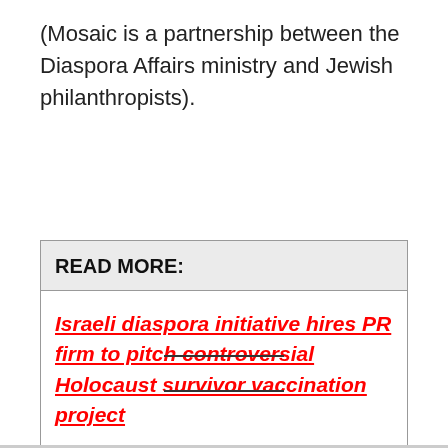(Mosaic is a partnership between the Diaspora Affairs ministry and Jewish philanthropists).
| READ MORE: |
| --- |
| Israeli diaspora initiative hires PR firm to pitch controversial Holocaust survivor vaccination project |
— —